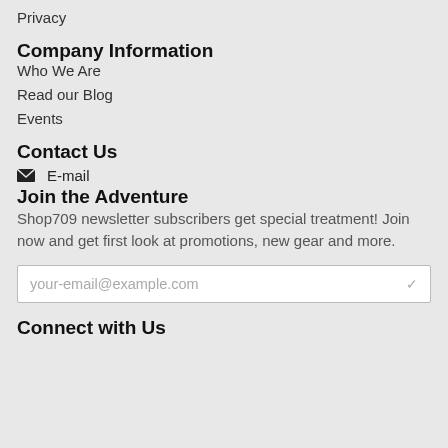Privacy
Company Information
Who We Are
Read our Blog
Events
Contact Us
✉ E-mail
Join the Adventure
Shop709 newsletter subscribers get special treatment! Join now and get first look at promotions, new gear and more.
your-email@example.com
Connect with Us